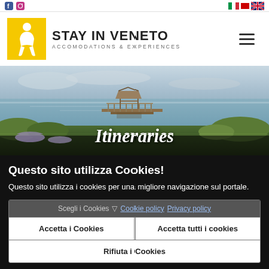Social icons and language flags (Italian, UK)
[Figure (logo): Stay In Veneto logo: yellow square with white human silhouette, brand name STAY IN VENETO, subtitle ACCOMODATIONS & EXPERIENCES]
[Figure (photo): Panoramic photo of a wooden pier/boardwalk extending over a lagoon or lake, with a gazebo structure, reeds and vegetation, cloudy sky. Overlay text: Itineraries]
Questo sito utilizza Cookies!
Questo sito utilizza i cookies per una migliore navigazione sul portale.
Scegli i Cookies ▽ Cookie policy  Privacy policy
Accetta i Cookies
Accetta tutti i cookies
Rifiuta i Cookies